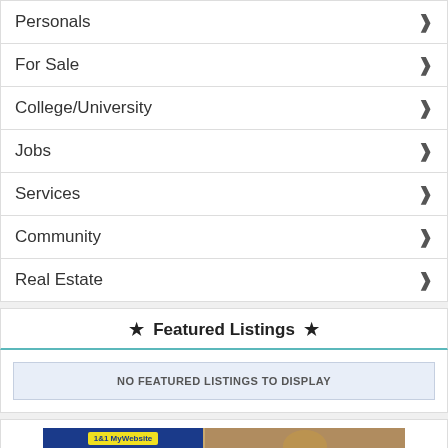Personals
For Sale
College/University
Jobs
Services
Community
Real Estate
★  Featured Listings  ★
NO FEATURED LISTINGS TO DISPLAY
[Figure (photo): 1&1 MyWebsite advertisement with blue box logo and smiling woman in background, followed by a green bar at the bottom]